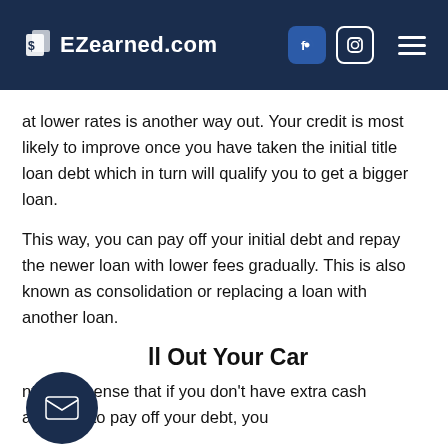EZearned.com
at lower rates is another way out. Your credit is most likely to improve once you have taken the initial title loan debt which in turn will qualify you to get a bigger loan.
This way, you can pay off your initial debt and repay the newer loan with lower fees gradually. This is also known as consolidation or replacing a loan with another loan.
ll Out Your Car
nt make sense that if you don't have extra cash available to pay off your debt, you